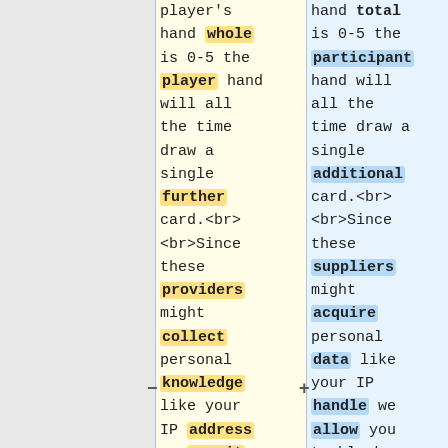player's hand whole is 0-5 the player hand will all the time draw a single further card.<br><br>Since these providers might collect personal knowledge like your IP address we permit you to block them
hand total is 0-5 the participant hand will all the time draw a single additional card.<br><br>Since these suppliers might acquire personal data like your IP handle we allow you to block them right here.